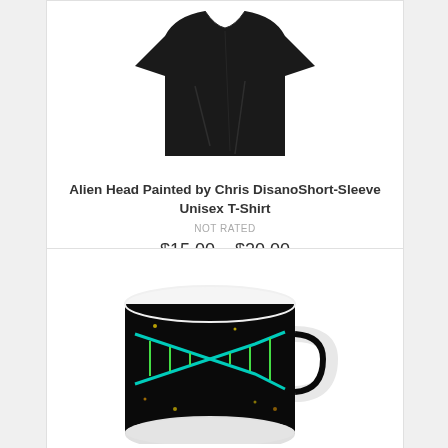[Figure (photo): Black folded t-shirt product photo on white background]
Alien Head Painted by Chris DisanoShort-Sleeve Unisex T-Shirt
NOT RATED
$15.00 – $20.00
SELECT OPTIONS
[Figure (photo): White ceramic mug with colorful DNA double helix painting on black background]